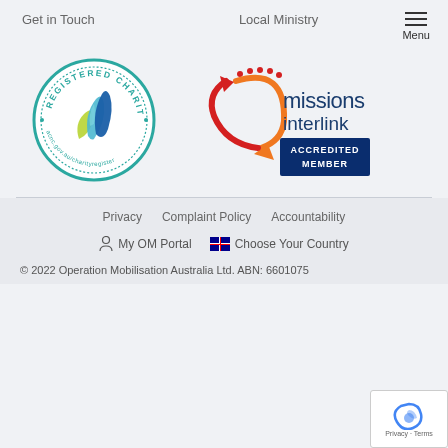Get in Touch    Local Ministry    Menu
[Figure (logo): Registered Charity badge — circular teal border with REGISTERED CHARITY text and acnc.gov.au/charityregister, with a blue and green ribbon/flame logo in the center]
[Figure (logo): Missions Interlink Accredited Member badge — orange and red circular arrow logo with 'missions interlink' text and blue 'ACCREDITED MEMBER' box]
Privacy    Complaint Policy    Accountability
My OM Portal    🇦🇺 Choose Your Country
© 2022 Operation Mobilisation Australia Ltd. ABN: 6601075...